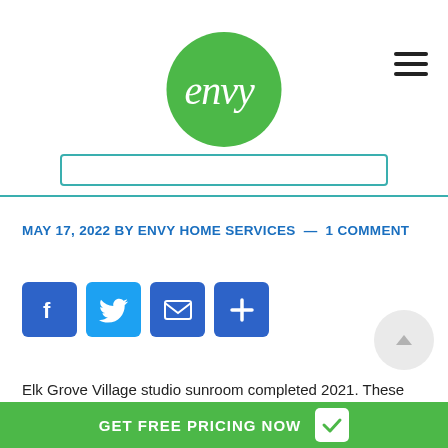envy logo and navigation
MAY 17, 2022 BY ENVY HOME SERVICES — 1 COMMENT
[Figure (screenshot): Social share buttons: Facebook, Twitter, Email, More]
Elk Grove Village studio sunroom completed 2021. These homeowners had an under utilized patio they wanted to add a sunroom onto. This particular sunroom
GET FREE PRICING NOW